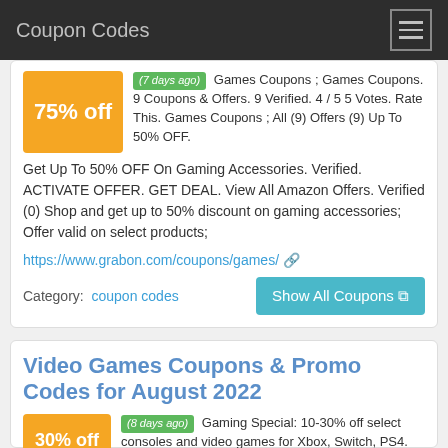Coupon Codes
(7 days ago) Games Coupons ; Games Coupons. 9 Coupons & Offers. 9 Verified. 4 / 5 5 Votes. Rate This. Games Coupons ; All (9) Offers (9) Up To 50% OFF. Get Up To 50% OFF On Gaming Accessories. Verified. ACTIVATE OFFER. GET DEAL. View All Amazon Offers. Verified (0) Shop and get up to 50% discount on gaming accessories; Offer valid on select products;
https://www.grabon.com/coupons/games/
Category:  coupon codes
Show All Coupons
Video Games Coupons & Promo Codes for August 2022
(8 days ago) Gaming Special: 10-30% off select consoles and video games for Xbox, Switch, PS4. All eBay Coupons. 1 use